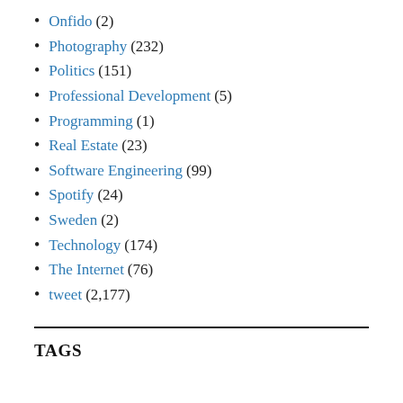Onfido (2)
Photography (232)
Politics (151)
Professional Development (5)
Programming (1)
Real Estate (23)
Software Engineering (99)
Spotify (24)
Sweden (2)
Technology (174)
The Internet (76)
tweet (2,177)
TAGS